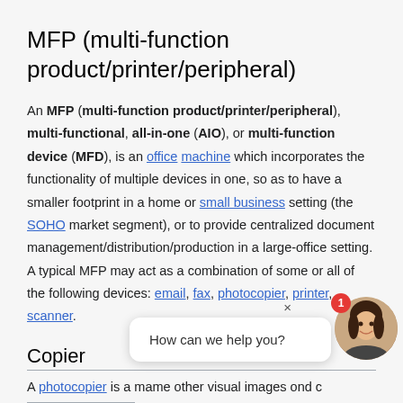MFP (multi-function product/printer/peripheral)
An MFP (multi-function product/printer/peripheral), multi-functional, all-in-one (AIO), or multi-function device (MFD), is an office machine which incorporates the functionality of multiple devices in one, so as to have a smaller footprint in a home or small business setting (the SOHO market segment), or to provide centralized document management/distribution/production in a large-office setting. A typical MFP may act as a combination of some or all of the following devices: email, fax, photocopier, printer, scanner.
Copier
A photocopier is a ma... me other visual images o... nd c...
[Figure (other): Chat widget overlay with bubble saying 'How can we help you?' and a female avatar with a red badge showing '1', plus a close X button]